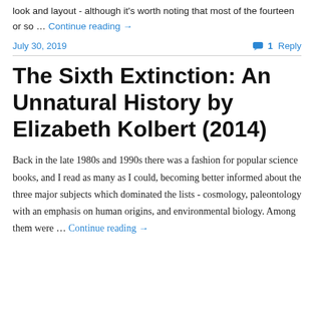look and layout - although it's worth noting that most of the fourteen or so … Continue reading →
July 30, 2019
1 Reply
The Sixth Extinction: An Unnatural History by Elizabeth Kolbert (2014)
Back in the late 1980s and 1990s there was a fashion for popular science books, and I read as many as I could, becoming better informed about the three major subjects which dominated the lists - cosmology, paleontology with an emphasis on human origins, and environmental biology. Among them were … Continue reading →